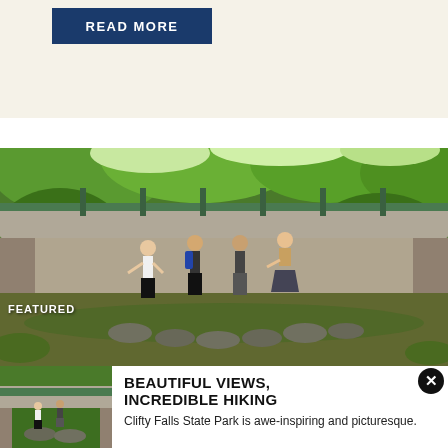[Figure (other): READ MORE button — dark blue rectangular button with white bold uppercase text]
[Figure (photo): Group of four hikers stepping across flat stones under a concrete bridge in a lush green forest at Clifty Falls State Park. 'FEATURED' label overlaid in upper-left corner.]
[Figure (photo): Thumbnail of the same hiker bridge photo]
BEAUTIFUL VIEWS, INCREDIBLE HIKING
Clifty Falls State Park is awe-inspiring and picturesque.